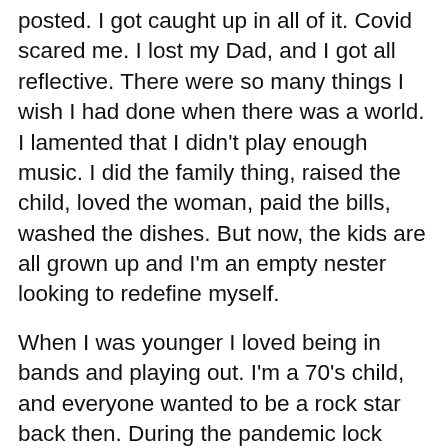posted. I got caught up in all of it. Covid scared me. I lost my Dad, and I got all reflective. There were so many things I wish I had done when there was a world. I lamented that I didn't play enough music. I did the family thing, raised the child, loved the woman, paid the bills, washed the dishes. But now, the kids are all grown up and I'm an empty nester looking to redefine myself.
When I was younger I loved being in bands and playing out. I'm a 70's child, and everyone wanted to be a rock star back then. During the pandemic lock down, there were no venues to play, and I felt a sudden major loss. A loss of all the things I wish I had done when I could have, and now that I couldn't, I really felt the loss. The maybe someday was always there for me, but once that was taken away, it freaked